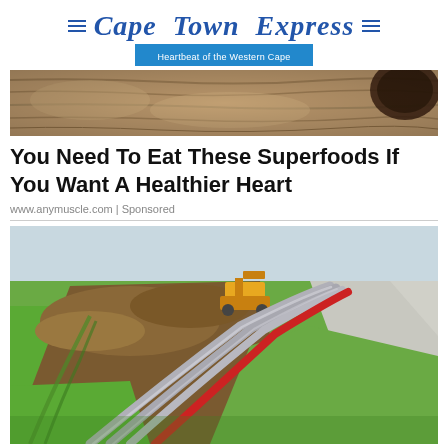Cape Town Express — Heartbeat of the Western Cape
[Figure (photo): Close-up photo of wooden texture with a dark round object visible in upper right corner, serving as decorative banner image]
You Need To Eat These Superfoods If You Want A Healthier Heart
www.anymuscle.com | Sponsored
[Figure (photo): Outdoor construction photo showing large pipes (grey and red) being laid in a trench through a green grassy field alongside a road, with a yellow excavator visible in the background]